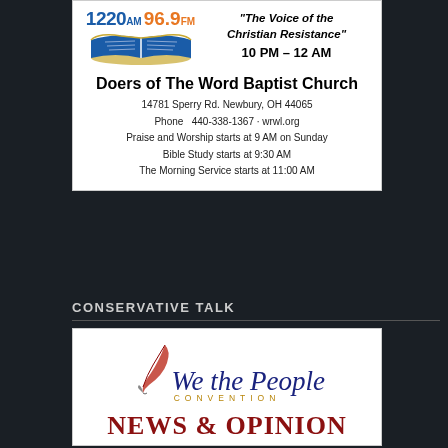[Figure (infographic): Radio station advertisement for The Word 1220 AM 96.9 FM, showing radio logo with open book graphic and text 'The Voice of the Christian Resistance' 10 PM - 12 AM, and Doers of The Word Baptist Church details]
Doers of The Word Baptist Church
14781 Sperry Rd. Newbury, OH 44065
Phone 440-338-1367 · wrwl.org
Praise and Worship starts at 9 AM on Sunday
Bible Study starts at 9:30 AM
The Morning Service starts at 11:00 AM
CONSERVATIVE TALK
[Figure (logo): We the People Convention logo with quill pen and 'NEWS & OPINION' text in red below]